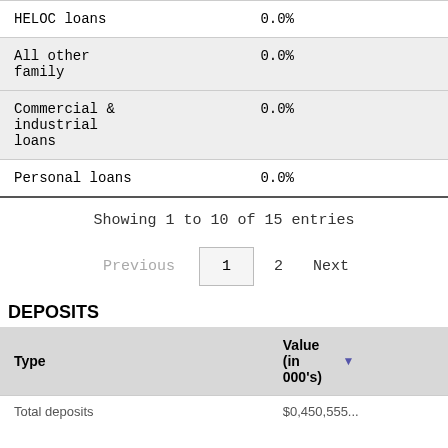|  |  |
| --- | --- |
| HELOC loans | 0.0% |
| All other family | 0.0% |
| Commercial & industrial loans | 0.0% |
| Personal loans | 0.0% |
Showing 1 to 10 of 15 entries
Previous  1  2  Next
DEPOSITS
| Type | Value (in 000's) |
| --- | --- |